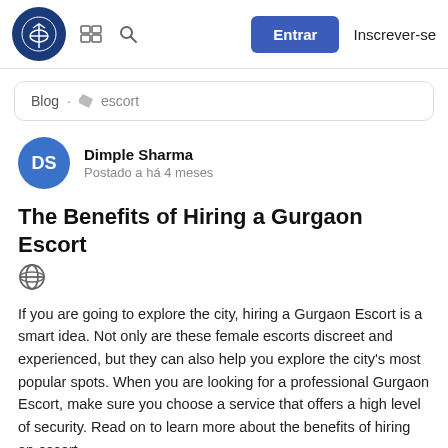Entrar  Inscrever-se
Blog · escort
DS  Dimple Sharma  Postado a há 4 meses
The Benefits of Hiring a Gurgaon Escort
If you are going to explore the city, hiring a Gurgaon Escort is a smart idea. Not only are these female escorts discreet and experienced, but they can also help you explore the city's most popular spots. When you are looking for a professional Gurgaon Escort, make sure you choose a service that offers a high level of security. Read on to learn more about the benefits of hiring an escort.
Escorts are a great way to relax and enjoy a special occasion. Many escorts can provide you with sensual companionship